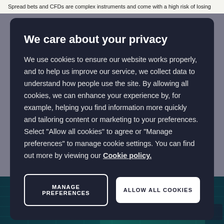Spread bets and CFDs are complex instruments and come with a high risk of losing
We care about your privacy
We use cookies to ensure our website works properly, and to help us improve our service, we collect data to understand how people use the site. By allowing all cookies, we can enhance your experience by, for example, helping you find information more quickly and tailoring content or marketing to your preferences. Select “Allow all cookies” to agree or “Manage preferences” to manage cookie settings. You can find out more by viewing our Cookie policy.
MANAGE PREFERENCES
ALLOW ALL COOKIES
[Figure (photo): A blurred financial market background image showing a world map with a teal/green digital overlay, with a stock ticker showing Index ▲1.56 ▼0.78]